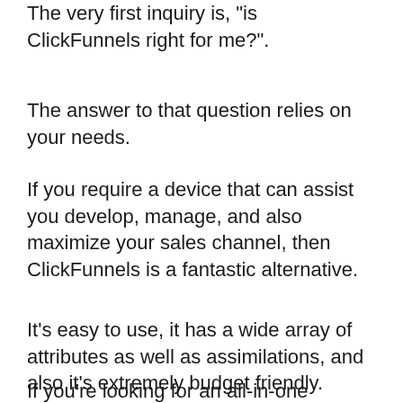The very first inquiry is, "is ClickFunnels right for me?".
The answer to that question relies on your needs.
If you require a device that can assist you develop, manage, and also maximize your sales channel, then ClickFunnels is a fantastic alternative.
It's easy to use, it has a wide array of attributes as well as assimilations, and also it's extremely budget friendly.
If you're looking for an all-in-one marketing